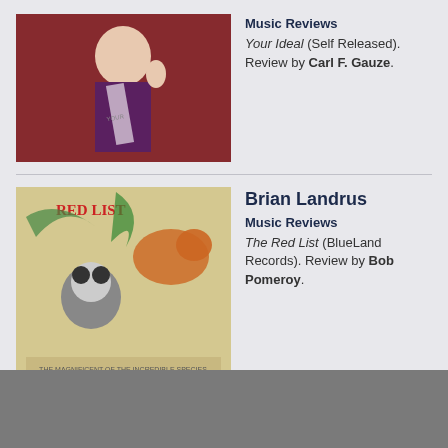[Figure (photo): Woman in pageant sash waving, red curtain background]
Music Reviews
Your Ideal (Self Released). Review by Carl F. Gauze.
[Figure (photo): Red List album cover — Brian Landrus, endangered animals illustration]
Brian Landrus
Music Reviews
The Red List (BlueLand Records). Review by Bob Pomeroy.
[Figure (photo): Black and white photo of LA brothers Jonathan and Michael Rosen in recording studio]
Rosen Siblings Release Almanac
Music News
LA brothers Jonathan and Michael Rosen released Almanac, their second album as Cones last week. It's a sweet one.